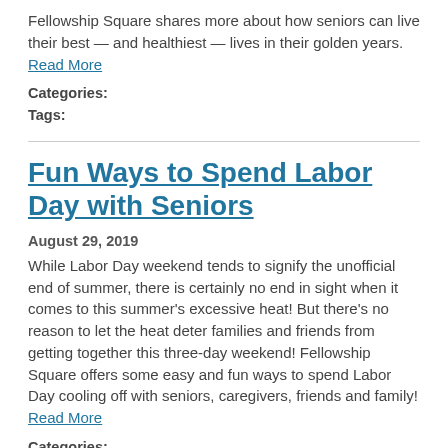Fellowship Square shares more about how seniors can live their best — and healthiest — lives in their golden years. Read More
Categories:
Tags:
Fun Ways to Spend Labor Day with Seniors
August 29, 2019
While Labor Day weekend tends to signify the unofficial end of summer, there is certainly no end in sight when it comes to this summer's excessive heat! But there's no reason to let the heat deter families and friends from getting together this three-day weekend! Fellowship Square offers some easy and fun ways to spend Labor Day cooling off with seniors, caregivers, friends and family! Read More
Categories:
Tags: